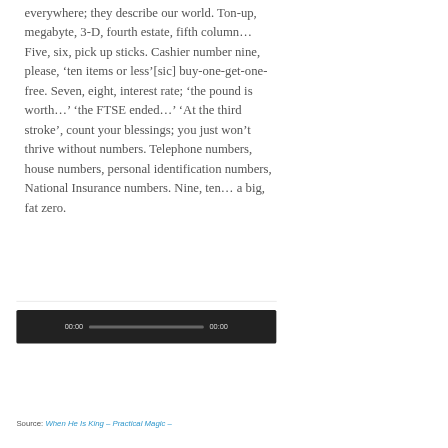everywhere; they describe our world. Ton-up, megabyte, 3-D, fourth estate, fifth column… Five, six, pick up sticks. Cashier number nine, please, ‘ten items or less’[sic] buy-one-get-one-free. Seven, eight, interest rate; ‘the pound is worth…’ ‘the FTSE ended…’ ‘At the third stroke’, count your blessings; you just won’t thrive without numbers. Telephone numbers, house numbers, personal identification numbers, National Insurance numbers. Nine, ten… a big, fat zero.
[Figure (other): Audio player widget with dark background showing 00:00 timestamp on left, a progress bar in the middle, and 00:00 on the right]
Source: When He Is King – Practical Magic –